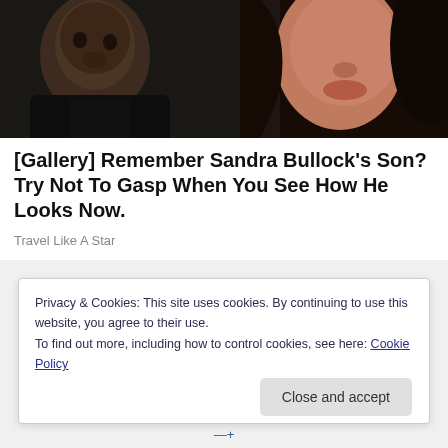[Figure (photo): Close-up photo showing a young Black child on the left and a woman with dark hair on the right, both in close proximity. The child wears a dark jacket.]
[Gallery] Remember Sandra Bullock's Son? Try Not To Gasp When You See How He Looks Now.
Travel Like A Star
Privacy & Cookies: This site uses cookies. By continuing to use this website, you agree to their use.
To find out more, including how to control cookies, see here: Cookie Policy
Close and accept